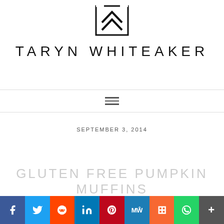[Figure (logo): Taryn Whiteaker blog logo - geometric chevron/arrow mark inside a rectangle outline]
TARYN WHITEAKER
[Figure (other): Hamburger navigation menu icon (three horizontal lines)]
SEPTEMBER 3, 2014
GLUTEN FREE PUMPKIN MUFFINS
[Figure (other): Social media sharing bar with icons: Facebook, Twitter, Reddit, LinkedIn, Pinterest, MeWe, Mix, WhatsApp, More]